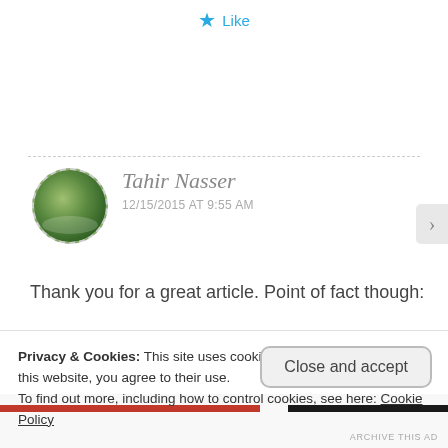★ Like
Tahir Nasser
12/15/2015 AT 9:55 AM
Thank you for a great article. Point of fact though:
Privacy & Cookies: This site uses cookies. By continuing to use this website, you agree to their use.
To find out more, including how to control cookies, see here: Cookie Policy
Close and accept